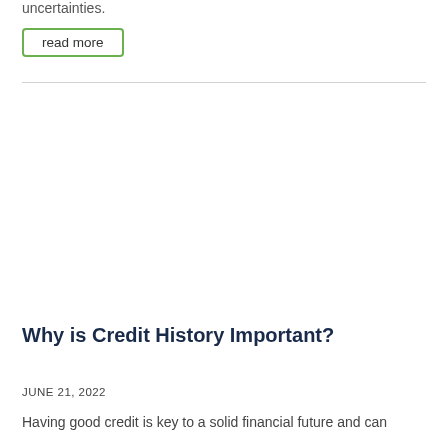uncertainties.
read more
Why is Credit History Important?
JUNE 21, 2022
Having good credit is key to a solid financial future and can